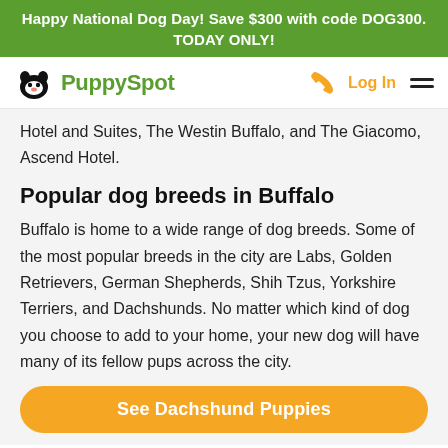Happy National Dog Day! Save $300 with code DOG300. TODAY ONLY!
[Figure (logo): PuppySpot logo with dog face icon in black and green text, plus phone icon, Log In link, and hamburger menu on the right]
Hotel and Suites, The Westin Buffalo, and The Giacomo, Ascend Hotel.
Popular dog breeds in Buffalo
Buffalo is home to a wide range of dog breeds. Some of the most popular breeds in the city are Labs, Golden Retrievers, German Shepherds, Shih Tzus, Yorkshire Terriers, and Dachshunds. No matter which kind of dog you choose to add to your home, your new dog will have many of its fellow pups across the city.
See Dachshund Puppies